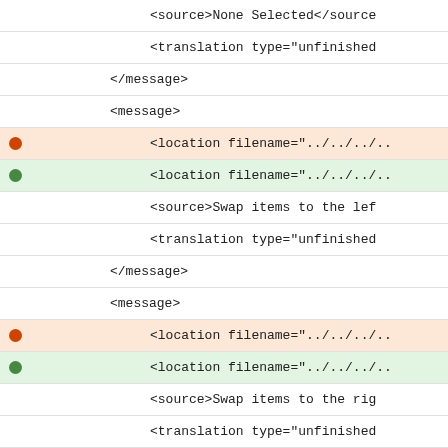<source>None Selected</source>
<translation type="unfinished
</message>
<message>
<location filename="../../..
<location filename="../../..
<source>Swap items to the lef
<translation type="unfinished
</message>
<message>
<location filename="../../..
<location filename="../../..
<source>Swap items to the rig
<translation type="unfinished
</message>
<message>
<location filename="../../..
<location filename="../../..
<source>Y: %1%2</source>
<translation type="unfinished
</message>
<message>
<location filename="../../..
<location filename="../../..